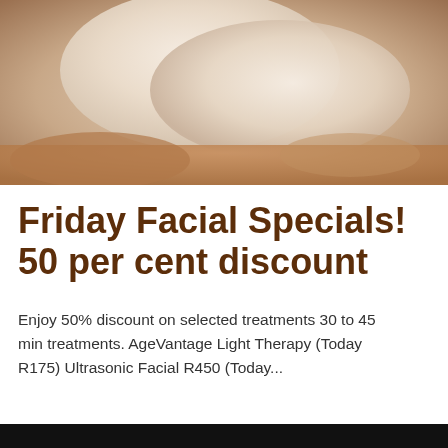[Figure (photo): Gloved hands performing a facial treatment on a person lying down, close-up beauty/spa treatment photo]
Friday Facial Specials! 50 per cent discount
Enjoy 50% discount on selected treatments 30 to 45 min treatments. AgeVantage Light Therapy (Today R175) Ultrasonic Facial R450 (Today...
[Figure (screenshot): Pagination controls showing << < 1/3 > >> and a scroll-up button, plus a progress bar with blue fill and a blue more-options button with three dots]